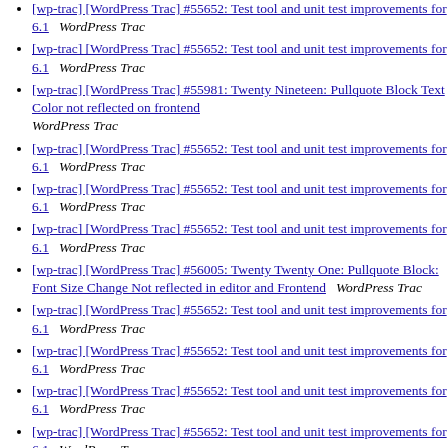[wp-trac] [WordPress Trac] #55652: Test tool and unit test improvements for 6.1   WordPress Trac
[wp-trac] [WordPress Trac] #55652: Test tool and unit test improvements for 6.1   WordPress Trac
[wp-trac] [WordPress Trac] #55981: Twenty Nineteen: Pullquote Block Text Color not reflected on frontend   WordPress Trac
[wp-trac] [WordPress Trac] #55652: Test tool and unit test improvements for 6.1   WordPress Trac
[wp-trac] [WordPress Trac] #55652: Test tool and unit test improvements for 6.1   WordPress Trac
[wp-trac] [WordPress Trac] #55652: Test tool and unit test improvements for 6.1   WordPress Trac
[wp-trac] [WordPress Trac] #56005: Twenty Twenty One: Pullquote Block: Font Size Change Not reflected in editor and Frontend   WordPress Trac
[wp-trac] [WordPress Trac] #55652: Test tool and unit test improvements for 6.1   WordPress Trac
[wp-trac] [WordPress Trac] #55652: Test tool and unit test improvements for 6.1   WordPress Trac
[wp-trac] [WordPress Trac] #55652: Test tool and unit test improvements for 6.1   WordPress Trac
[wp-trac] [WordPress Trac] #55652: Test tool and unit test improvements for 6.1   WordPress Trac
[wp-trac] [WordPress Trac] #55652: Test tool and unit test improvements for 6.1   WordPress Trac